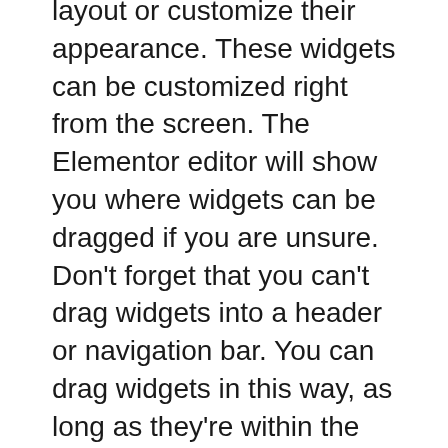layout or customize their appearance. These widgets can be customized right from the screen. The Elementor editor will show you where widgets can be dragged if you are unsure. Don't forget that you can't drag widgets into a header or navigation bar. You can drag widgets in this way, as long as they're within the Widgets category.
The Elementor plugin supports all popular WordPress themes. The free version is suitable for beginners while the Pro version works well for small teams and experienced users. Both licenses have a variety of features that can enhance your website. You can start with an Essential license, then upgrade to the Advanced or Expert versions if you want more features. If you plan to